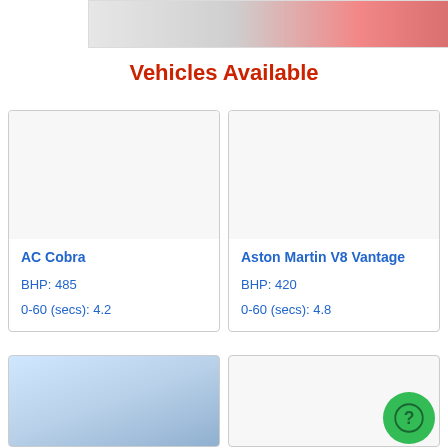[Figure (photo): Partial top image of a red sports car on a road]
Vehicles Available
AC Cobra
BHP: 485
0-60 (secs): 4.2
Aston Martin V8 Vantage
BHP: 420
0-60 (secs): 4.8
[Figure (photo): White sports car photographed from front-left angle against blue sky]
[Figure (other): Empty card placeholder]